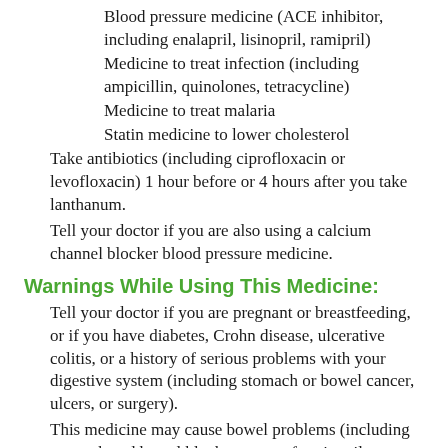Blood pressure medicine (ACE inhibitor, including enalapril, lisinopril, ramipril)
Medicine to treat infection (including ampicillin, quinolones, tetracycline)
Medicine to treat malaria
Statin medicine to lower cholesterol
Take antibiotics (including ciprofloxacin or levofloxacin) 1 hour before or 4 hours after you take lanthanum.
Tell your doctor if you are also using a calcium channel blocker blood pressure medicine.
Warnings While Using This Medicine:
Tell your doctor if you are pregnant or breastfeeding, or if you have diabetes, Crohn disease, ulcerative colitis, or a history of serious problems with your digestive system (including stomach or bowel cancer, ulcers, or surgery).
This medicine may cause bowel problems (including stomach and bowel blockage or perforation, ileus, or blockage in your rectum), which may require surgery or hospitalization.